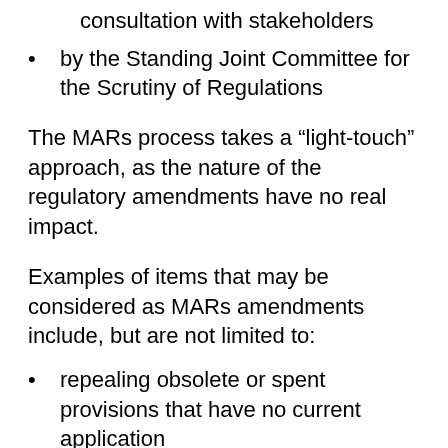consultation with stakeholders
by the Standing Joint Committee for the Scrutiny of Regulations
The MARs process takes a “light-touch” approach, as the nature of the regulatory amendments have no real impact.
Examples of items that may be considered as MARs amendments include, but are not limited to:
repealing obsolete or spent provisions that have no current application
eliminating unnecessary duplication of text